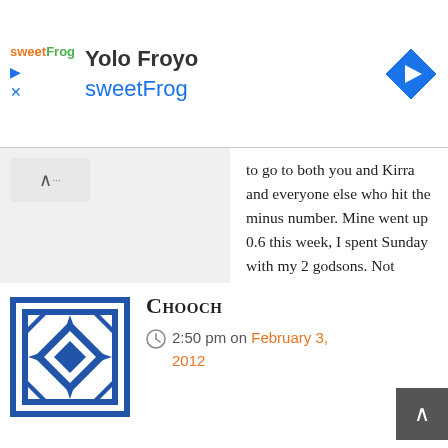[Figure (screenshot): Ad banner for sweetFrog / Yolo Froyo with navigation icon]
to go to both you and Kirra and everyone else who hit the minus number. Mine went up 0.6 this week, I spent Sunday with my 2 godsons. Not doing that again for a while. lol Keep up the great work and we will ALL get there at some point!

Congrats to you Kirra for taking the set to sign up for the 5K. Best wishes coming your way!
Reply
[Figure (illustration): Blue and white geometric quilt-pattern avatar for user Chooch]
Chooch
2:50 pm on February 3, 2012